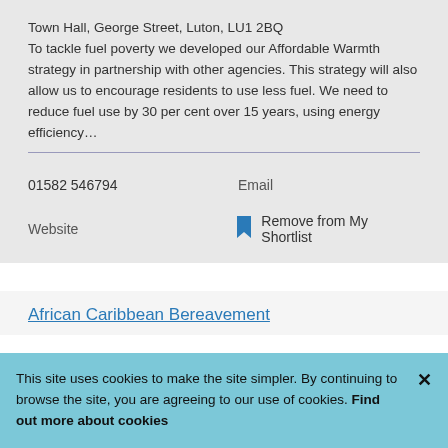Town Hall, George Street, Luton, LU1 2BQ
To tackle fuel poverty we developed our Affordable Warmth strategy in partnership with other agencies. This strategy will also allow us to encourage residents to use less fuel. We need to reduce fuel use by 30 per cent over 15 years, using energy efficiency…
01582 546794
Email
Website
Remove from My Shortlist
African Caribbean Bereavement
This site uses cookies to make the site simpler. By continuing to browse the site, you are agreeing to our use of cookies. Find out more about cookies